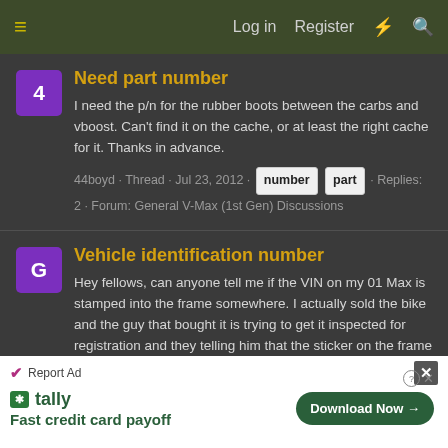≡  Log in  Register  ⚡  🔍
Need part number
I need the p/n for the rubber boots between the carbs and vboost. Can't find it on the cache, or at least the right cache for it. Thanks in advance.
44boyd · Thread · Jul 23, 2012 · number  part · Replies: 2 · Forum: General V-Max (1st Gen) Discussions
Vehicle identification number
Hey fellows, can anyone tell me if the VIN on my 01 Max is stamped into the frame somewhere. I actually sold the bike and the guy that bought it is trying to get it inspected for registration and they telling him that the sticker on the frame is not good enough. I'm sure it's probably stamped in...
gt2roadracer · Thread · Jul 20, 2012 · identification  number  vehicle · Replies: 10 · Forum: General V-Max
[Figure (screenshot): Advertisement banner for Tally app - Fast credit card payoff with Download Now button]